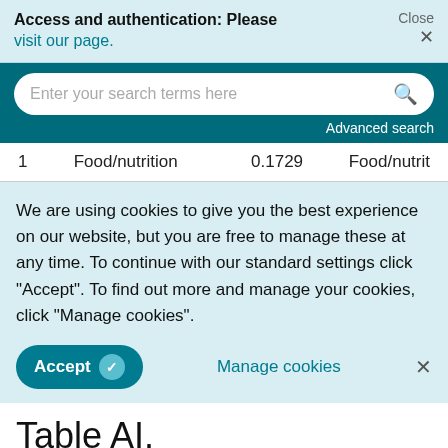Access and authentication: Please visit our page.  Close ×
[Figure (screenshot): Search bar with placeholder text 'Enter your search terms here' and a magnifying glass icon, on a dark teal background with 'Advanced search' link]
| 1 | Food/nutrition | 0.1729 | Food/nutrit |
We are using cookies to give you the best experience on our website, but you are free to manage these at any time. To continue with our standard settings click "Accept". To find out more and manage your cookies, click "Manage cookies".
Accept ✓   Manage cookies   ×
Table AI.